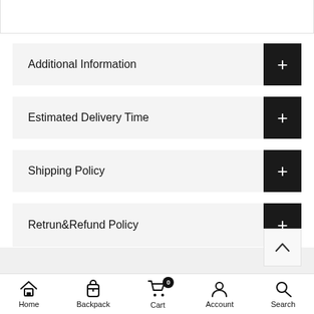Additional Information
Estimated Delivery Time
Shipping Policy
Retrun&Refund Policy
Home | Backpack | Cart 0 | Account | Search